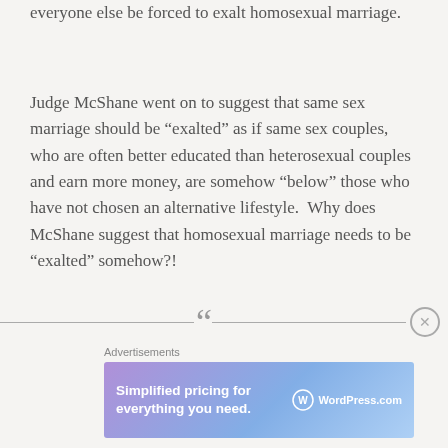everyone else be forced to exalt homosexual marriage.
Judge McShane went on to suggest that same sex marriage should be “exalted” as if same sex couples, who are often better educated than heterosexual couples and earn more money, are somehow “below” those who have not chosen an alternative lifestyle.  Why does McShane suggest that homosexual marriage needs to be “exalted” somehow?!
[Figure (other): Decorative divider line with large opening quotation marks (“) in gray, and a circular close/dismiss button on the right end]
Advertisements
[Figure (other): WordPress.com advertisement banner: 'Simplified pricing for everything you need.' with WordPress.com logo on gradient purple-blue background]